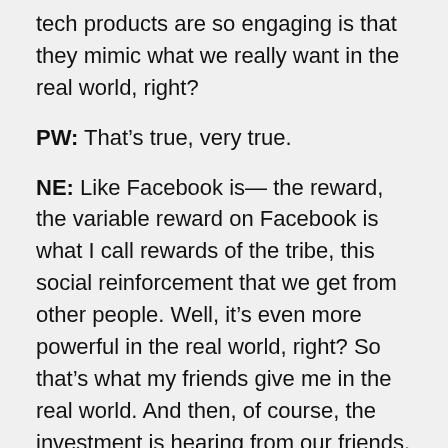tech products are so engaging is that they mimic what we really want in the real world, right?
PW: That’s true, very true.
NE: Like Facebook is— the reward, the variable reward on Facebook is what I call rewards of the tribe, this social reinforcement that we get from other people. Well, it’s even more powerful in the real world, right? So that’s what my friends give me in the real world. And then, of course, the investment is hearing from our friends, and, you know, disclosing stuff that’s happening in our life. It’s a form of giving data, if you will, about what’s happening in your life. And so that’s how these friendships are made and kept, and I think it’s actually— you know there’s been lots of data now